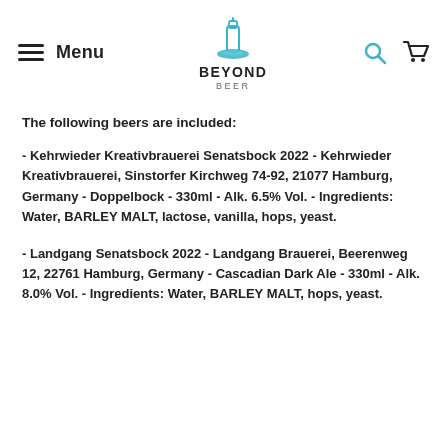Menu | BEYOND BEER
The following beers are included:
- Kehrwieder Kreativbrauerei Senatsbock 2022 - Kehrwieder Kreativbrauerei, Sinstorfer Kirchweg 74-92, 21077 Hamburg, Germany - Doppelbock - 330ml - Alk. 6.5% Vol. - Ingredients: Water, BARLEY MALT, lactose, vanilla, hops, yeast.
- Landgang Senatsbock 2022 - Landgang Brauerei, Beerenweg 12, 22761 Hamburg, Germany - Cascadian Dark Ale - 330ml - Alk. 8.0% Vol. - Ingredients: Water, BARLEY MALT, hops, yeast.